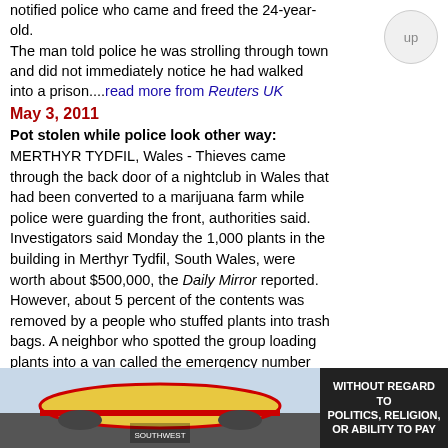notified police who came and freed the 24-year-old. The man told police he was strolling through town and did not immediately notice he had walked into a prison....read more from Reuters UK
May 3, 2011
Pot stolen while police look other way: MERTHYR TYDFIL, Wales - Thieves came through the back door of a nightclub in Wales that had been converted to a marijuana farm while police were guarding the front, authorities said. Investigators said Monday the 1,000 plants in the building in Merthyr Tydfil, South Wales, were worth about $500,000, the Daily Mirror reported. However, about 5 percent of the contents was removed by a people who stuffed plants into trash bags. A neighbor who spotted the group loading plants into a van called the emergency number but the thieves were able to get away....read more from UPI
Medieval treasure trove dug up in Austrian man's backyard: A TROVE of medieval jewellery and other precious objects found by a man working in his backyard includes pieces made for a royal court and may be worth as much as $136,817. The officials from Austria's department of national antiquities and the Academy of Sciences said they were only at the beginning of their investigation into the provenance and other details of the find. "We have in front of us high-end products (made) for the highest consumer class of Central Europe" of the Middle
[Figure (photo): Advertisement banner showing an airplane being loaded with cargo, with text overlay 'WITHOUT REGARD TO POLITICS, RELIGION, OR ABILITY TO PAY']